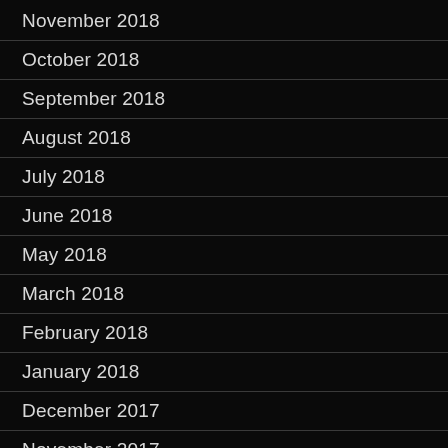November 2018
October 2018
September 2018
August 2018
July 2018
June 2018
May 2018
March 2018
February 2018
January 2018
December 2017
November 2017
October 2017